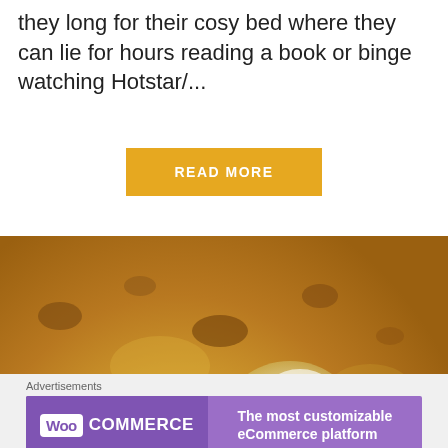they long for their cosy bed where they can lie for hours reading a book or binge watching Hotstar/...
READ MORE
[Figure (photo): Close-up photo of a golden-brown flatbread (paratha/crepe) with a melting pat of butter on top]
Advertisements
[Figure (logo): WooCommerce advertisement banner: purple background with WooCommerce logo on left and text 'The most customizable eCommerce platform' on right]
REPORT THIS AD